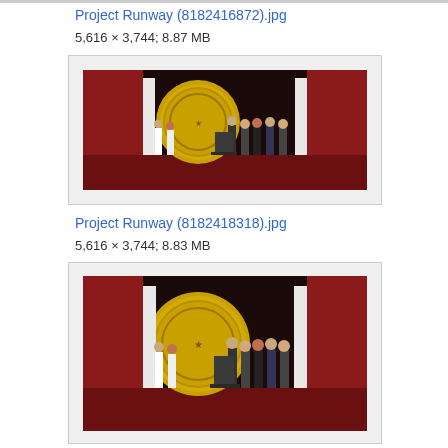Project Runway (8182416872).jpg
5,616 × 3,744; 8.87 MB
[Figure (photo): Group of people standing on a stage with a large gold medallion in the background, red curtains visible]
Project Runway (8182418318).jpg
5,616 × 3,744; 8.83 MB
[Figure (photo): Similar group photo on same stage with large gold medallion backdrop and red curtains]